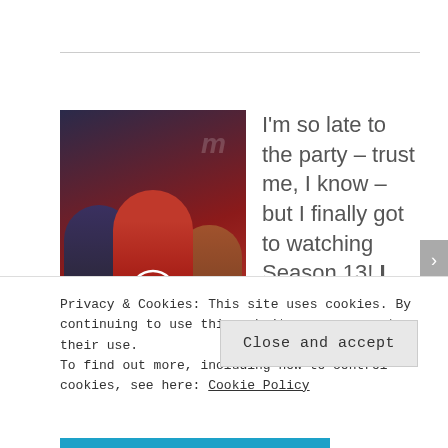[Figure (photo): MasterChef Season 13 promotional image showing three hosts/judges against a dark background with the MasterChef logo]
I'm so late to the party – trust me, I know – but I finally got to watching Season 13! I LOVED it beyond loving it, because it was just so full and amazing
Privacy & Cookies: This site uses cookies. By continuing to use this website, you agree to their use.
To find out more, including how to control cookies, see here: Cookie Policy
Close and accept